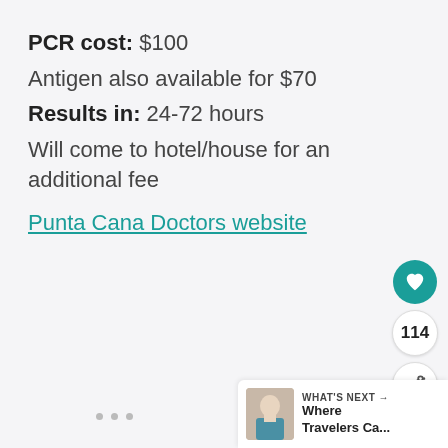PCR cost: $100
Antigen also available for $70
Results in: 24-72 hours
Will come to hotel/house for an additional fee
Punta Cana Doctors website